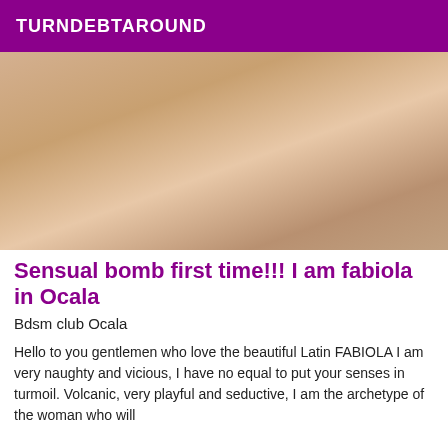TURNDEBTAROUND
[Figure (photo): Close-up photo of a woman wearing a decorative necklace]
Sensual bomb first time!!! I am fabiola in Ocala
Bdsm club Ocala
Hello to you gentlemen who love the beautiful Latin FABIOLA I am very naughty and vicious, I have no equal to put your senses in turmoil. Volcanic, very playful and seductive, I am the archetype of the woman who will